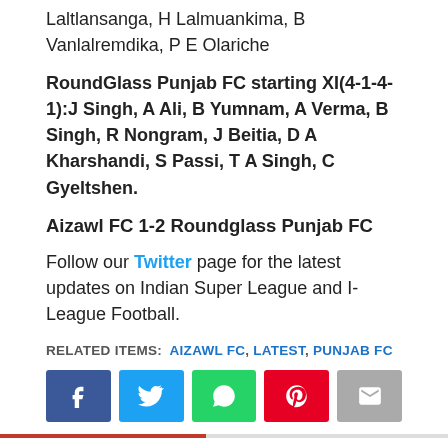Laltlansanga, H Lalmuankima, B Vanlalremdika, P E Olariche
RoundGlass Punjab FC starting XI(4-1-4-1):J Singh, A Ali, B Yumnam, A Verma, B Singh, R Nongram, J Beitia, D A Kharshandi, S Passi, T A Singh, C Gyeltshen.
Aizawl FC 1-2 Roundglass Punjab FC
Follow our Twitter page for the latest updates on Indian Super League and I-League Football.
RELATED ITEMS: AIZAWL FC, LATEST, PUNJAB FC
[Figure (infographic): Social share buttons: Facebook, Twitter, WhatsApp, Pinterest, Email]
RECOMMENDED FOR YOU
RoundGlass Punjab, NEROCA end Hero I-League campaign with six goal thriller